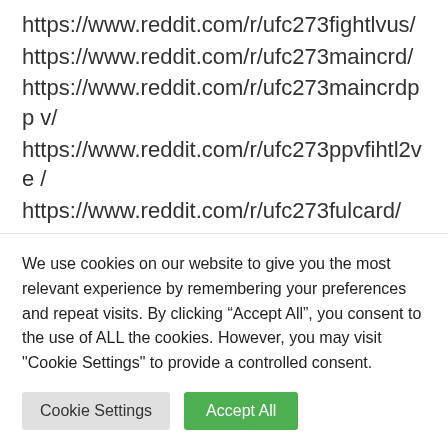https://www.reddit.com/r/ufc273fightlvus/
https://www.reddit.com/r/ufc273maincrd/
https://www.reddit.com/r/ufc273maincrdppv/
https://www.reddit.com/r/ufc273ppvfihtl2ve/
https://www.reddit.com/r/ufc273fulcard/
https://www.reddit.com/r/ufc273ppvfigttv/
https://www.reddit.com/r/ufccrckstam273tv
We use cookies on our website to give you the most relevant experience by remembering your preferences and repeat visits. By clicking “Accept All”, you consent to the use of ALL the cookies. However, you may visit "Cookie Settings" to provide a controlled consent.